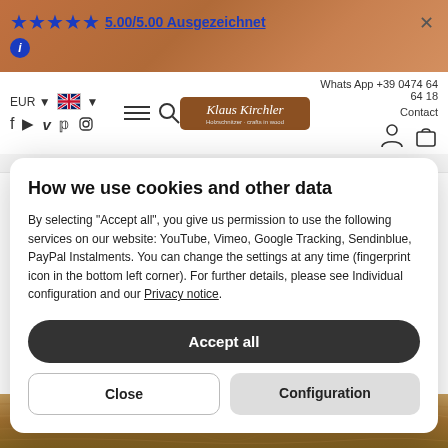5.00/5.00 Ausgezeichnet
EUR  ▼   🇬🇧 ▼   Whats App +39 0474 64 64 18   Contact
[Figure (logo): Klaus Kirchler logo - wooden sign style with bird illustration]
How we use cookies and other data
By selecting "Accept all", you give us permission to use the following services on our website: YouTube, Vimeo, Google Tracking, Sendinblue, PayPal Instalments. You can change the settings at any time (fingerprint icon in the bottom left corner). For further details, please see Individual configuration and our Privacy notice.
Accept all
Close
Configuration